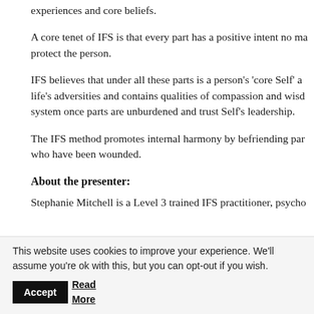experiences and core beliefs.
A core tenet of IFS is that every part has a positive intent no ma… protect the person.
IFS believes that under all these parts is a person's 'core Self' a… life's adversities and contains qualities of compassion and wisd… system once parts are unburdened and trust Self's leadership.
The IFS method promotes internal harmony by befriending par… who have been wounded.
About the presenter:
Stephanie Mitchell is a Level 3 trained IFS practitioner, psycho…
This website uses cookies to improve your experience. We'll assume you're ok with this, but you can opt-out if you wish. Accept Read More